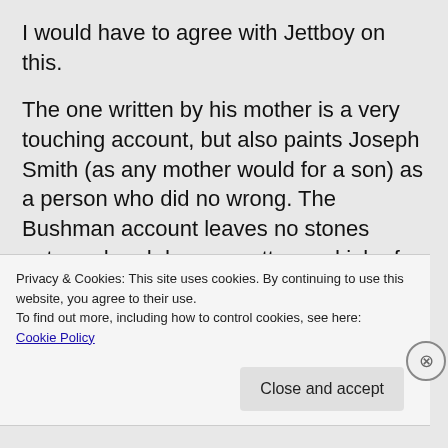I would have to agree with Jettboy on this.
The one written by his mother is a very touching account, but also paints Joseph Smith (as any mother would for a son) as a person who did no wrong. The Bushman account leaves no stones unturned and does a pretty good job of being objective without overly apologetic or overly critical.
Those are my two cents on the books…oh
Privacy & Cookies: This site uses cookies. By continuing to use this website, you agree to their use.
To find out more, including how to control cookies, see here: Cookie Policy
Close and accept